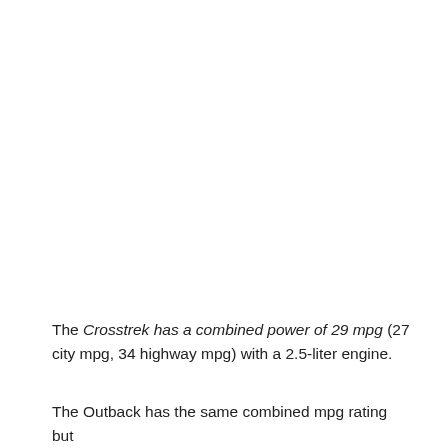The Crosstrek has a combined power of 29 mpg (27 city mpg, 34 highway mpg) with a 2.5-liter engine.
The Outback has the same combined mpg rating but has a few better things and higher mpg than the Subaru